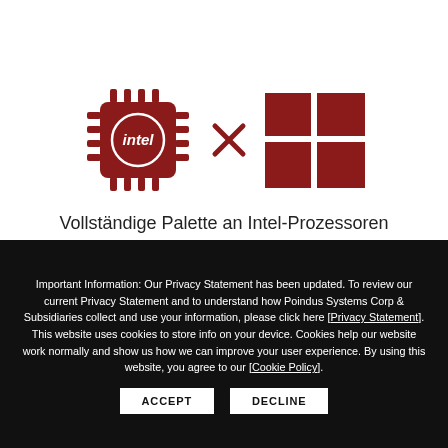[Figure (illustration): Intel processor chip icon (dark red) and Windows logo icon (dark red) separated by an X multiplication symbol, centered on white background]
Vollständige Palette an Intel-Prozessoren
Important Information: Our Privacy Statement has been updated. To review our current Privacy Statement and to understand how Poindus Systems Corp & Subsidiaries collect and use your information, please click here [Privacy Statement]. This website uses cookies to store info on your device. Cookies help our website work normally and show us how we can improve your user experience. By using this website, you agree to our [Cookie Policy].